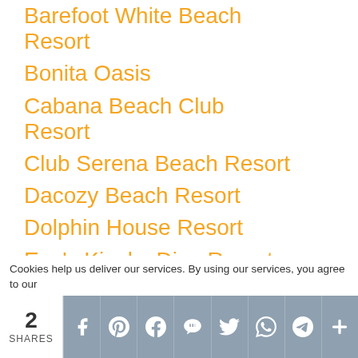Barefoot White Beach Resort
Bonita Oasis
Cabana Beach Club Resort
Club Serena Beach Resort
Dacozy Beach Resort
Dolphin House Resort
Eve's Kiosks Dive Resort
Hannahs Place Restaurant and Lodge
Marcosas Cottages Resort
Marina Village Beach and Dive Resort
Quo Vadis Beach Resort
Ravenala Beach
Cookies help us deliver our services. By using our services, you agree to our
2 SHARES